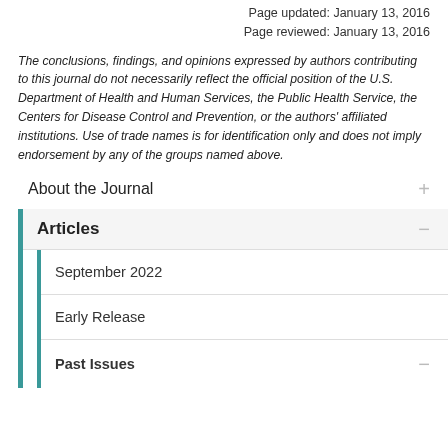Page updated: January 13, 2016
Page reviewed: January 13, 2016
The conclusions, findings, and opinions expressed by authors contributing to this journal do not necessarily reflect the official position of the U.S. Department of Health and Human Services, the Public Health Service, the Centers for Disease Control and Prevention, or the authors' affiliated institutions. Use of trade names is for identification only and does not imply endorsement by any of the groups named above.
About the Journal
Articles
September 2022
Early Release
Past Issues